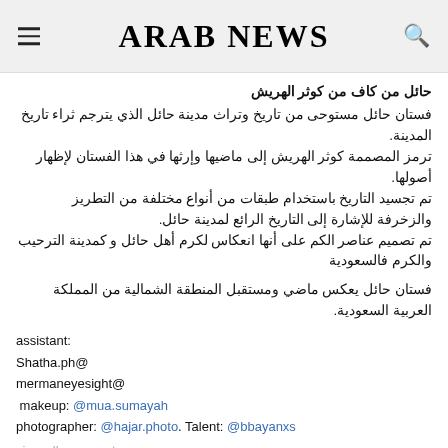ARAB NEWS
حائل من كاف من كوثر الهريش
فستان حائل مستوحى من تاريخ وتراث مدينة حائل الذي يترجم ثراء تاريخ المدينة.
ترمز المصممة كوثر الهريش إلى ماضيها وإرثها في هذا الفستان لإظهار أصولها.
تم تجسيد التاريخ باستخدام طبقات من أنواع مختلفة من التطريز والزخرفة للإشارة إلى التاريخ الرائع لمدينة حائل.
تم تصميم عناصر الكم على أنها انعكاس لكرم أهل حائل و كمدينة الترحيب والكرم فالسعودية
فستان حائل يعكس ماضي ومستقبل المنطقة الشمالية من المملكة العربية السعودية.
assistant:
Shatha.ph@
mermaneyesight@
 makeup: @mua.sumayah
photographer: @hajar.photo. Talent: @bbayanxs
view all comments